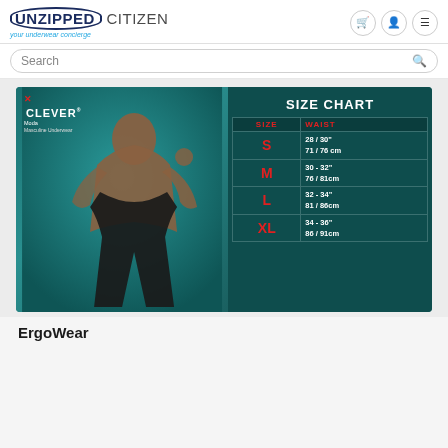[Figure (logo): Unzipped Citizen logo — brand name with underwear concierge tagline and navigation icons (cart, user, menu)]
[Figure (screenshot): Search bar with rounded border]
[Figure (photo): Clever Moda Masculine Underwear SIZE CHART showing a male model on teal background with size table: S 28/30" 71/76cm, M 30-32" 76/81cm, L 32-34" 81/86cm, XL 34-36" 86/91cm]
ErgoWear